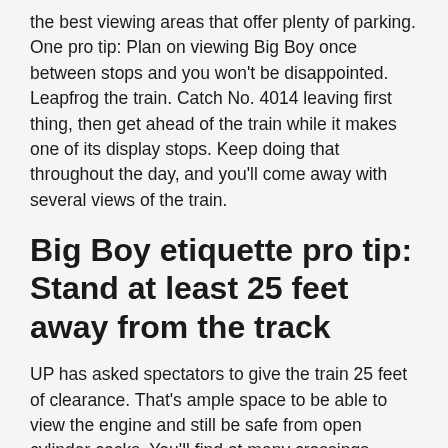the best viewing areas that offer plenty of parking. One pro tip: Plan on viewing Big Boy once between stops and you won't be disappointed. Leapfrog the train. Catch No. 4014 leaving first thing, then get ahead of the train while it makes one of its display stops. Keep doing that throughout the day, and you'll come away with several views of the train.
Big Boy etiquette pro tip: Stand at least 25 feet away from the track
UP has asked spectators to give the train 25 feet of clearance. That's ample space to be able to view the engine and still be safe from open cylinder cocks. You'll find at many crossings, people who have come to see the train who are standing at the edge of the crossties. Way too close. If you can politely help them back up from the tracks, it's a good